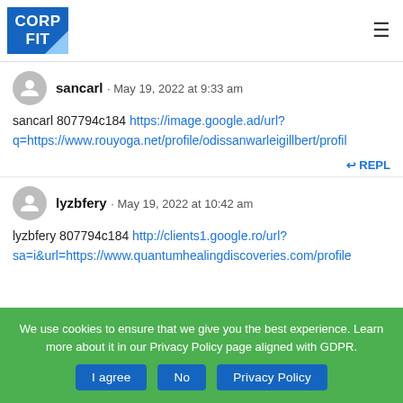CORP FIT
sancarl · May 19, 2022 at 9:33 am
sancarl 807794c184 https://image.google.ad/url?q=https://www.rouyoga.net/profile/odissanwarleigillbert/profile
↩ REPLY
lyzbfery · May 19, 2022 at 10:42 am
lyzbfery 807794c184 http://clients1.google.ro/url?sa=i&url=https://www.quantumhealingdiscoveries.com/profile
We use cookies to ensure that we give you the best experience. Learn more about it in our Privacy Policy page aligned with GDPR.